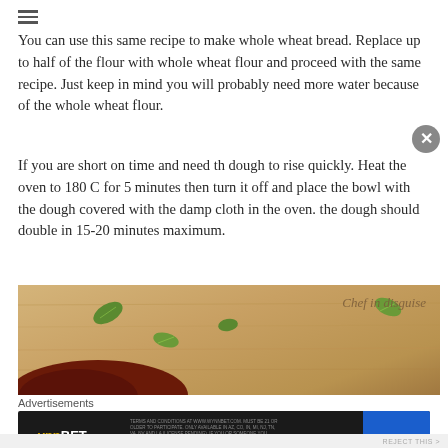You can use this same recipe to make whole wheat bread. Replace up to half of the flour with whole wheat flour and proceed with the same recipe. Just keep in mind you will probably need more water because of the whole wheat flour.
If you are short on time and need th dough to rise quickly. Heat the oven to 180 C for 5 minutes then turn it off and place the bowl with the dough covered with the damp cloth in the oven. the dough should double in 15-20 minutes maximum.
[Figure (photo): Photo of bread/food on a wooden surface with green herb leaves, watermarked 'Chef in disguise']
Advertisements
[Figure (other): WynnBET Sportsbook advertisement banner with BET NOW button]